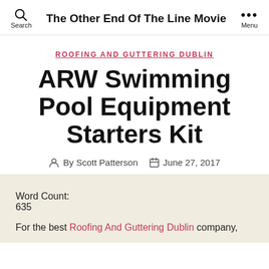Search   The Other End Of The Line Movie   ••• Menu
ROOFING AND GUTTERING DUBLIN
ARW Swimming Pool Equipment Starters Kit
By Scott Patterson   June 27, 2017
Word Count:
635
For the best Roofing And Guttering Dublin company,